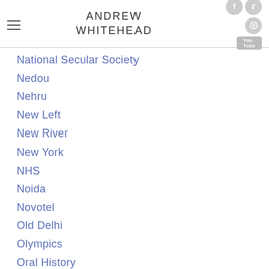ANDREW WHITEHEAD
National Secular Society
Nedou
Nehru
New Left
New River
New York
NHS
Noida
Novotel
Old Delhi
Olympics
Oral History
Orange Street
Orkney
Oxford
Oz